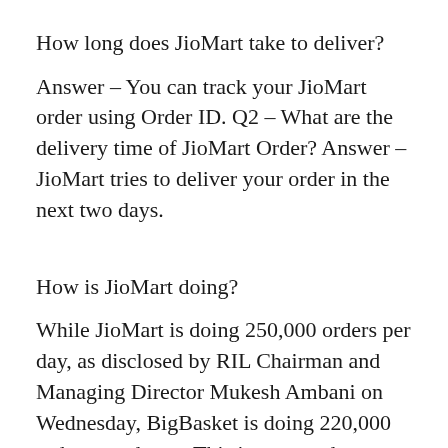How long does JioMart take to deliver?
Answer – You can track your JioMart order using Order ID. Q2 – What are the delivery time of JioMart Order? Answer – JioMart tries to deliver your order in the next two days.
How is JioMart doing?
While JioMart is doing 250,000 orders per day, as disclosed by RIL Chairman and Managing Director Mukesh Ambani on Wednesday, BigBasket is doing 220,000 orders per day. ... This is expected to increase the average order value on JioMart, which stands at Rs 500-600 per transaction, analysts